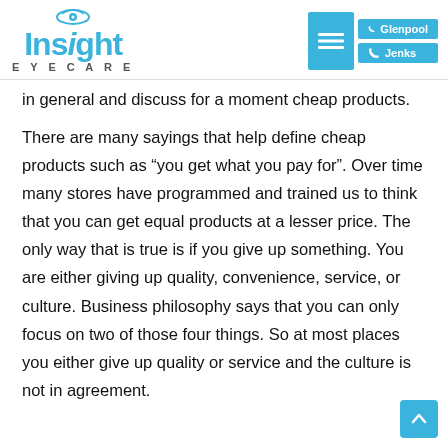Insight Eyecare — Glenpool | Jenks
in general and discuss for a moment cheap products.
There are many sayings that help define cheap products such as “you get what you pay for”. Over time many stores have programmed and trained us to think that you can get equal products at a lesser price. The only way that is true is if you give up something. You are either giving up quality, convenience, service, or culture. Business philosophy says that you can only focus on two of those four things. So at most places you either give up quality or service and the culture is not in agreement.